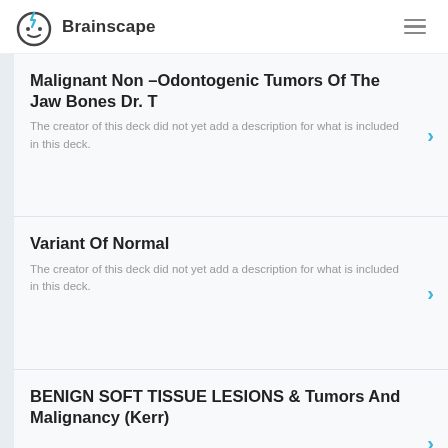Brainscape
Malignant Non –Odontogenic Tumors Of The Jaw Bones Dr. T
The creator of this deck did not yet add a description for what is included in this deck.
Variant Of Normal
The creator of this deck did not yet add a description for what is included in this deck.
BENIGN SOFT TISSUE LESIONS & Tumors And Malignancy (Kerr)